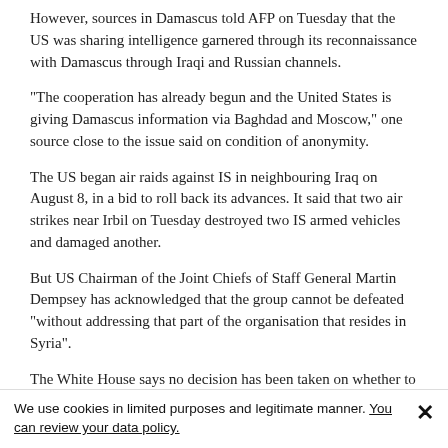However, sources in Damascus told AFP on Tuesday that the US was sharing intelligence garnered through its reconnaissance with Damascus through Iraqi and Russian channels.
"The cooperation has already begun and the United States is giving Damascus information via Baghdad and Moscow," one source close to the issue said on condition of anonymity.
The US began air raids against IS in neighbouring Iraq on August 8, in a bid to roll back its advances. It said that two air strikes near Irbil on Tuesday destroyed two IS armed vehicles and damaged another.
But US Chairman of the Joint Chiefs of Staff General Martin Dempsey has acknowledged that the group cannot be defeated "without addressing that part of the organisation that resides in Syria".
The White House says no decision has been taken on whether to carry out air strikes in Syria, although US aircraft have already entered Syrian airspace covertly at least once, on a failed mission to rescue hostages.
We use cookies in limited purposes and legitimate manner. You can review your data policy.